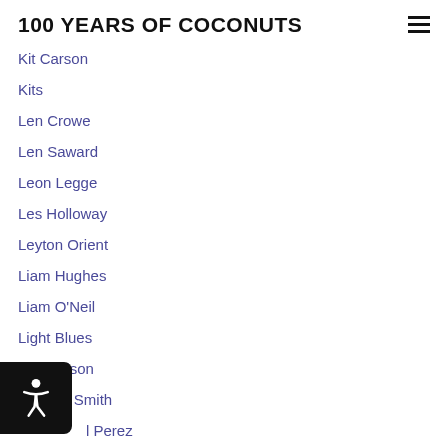100 YEARS OF COCONUTS
Kit Carson
Kits
Len Crowe
Len Saward
Leon Legge
Les Holloway
Leyton Orient
Liam Hughes
Liam O'Neil
Light Blues
Lil Harrison
Lindsay Smith
Lol Perez
Long Eaton Derby
Lovely Bunch
Luke Chadwick